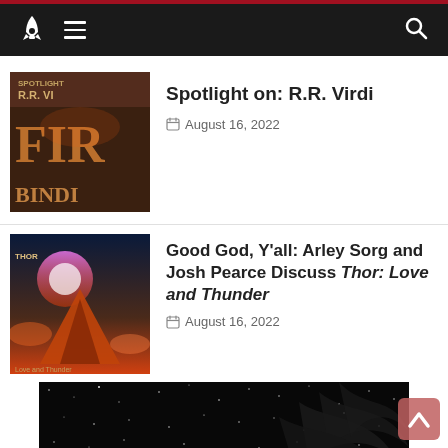Navigation bar with rocket logo, menu icon, and search icon
Spotlight on: R.R. Virdi
August 16, 2022
Good God, Y'all: Arley Sorg and Josh Pearce Discuss Thor: Love and Thunder
August 16, 2022
[Figure (photo): Dark starfield background with decorative wing motif and text: "A PENNY DREADFUL to end all penny dreadfuls."]